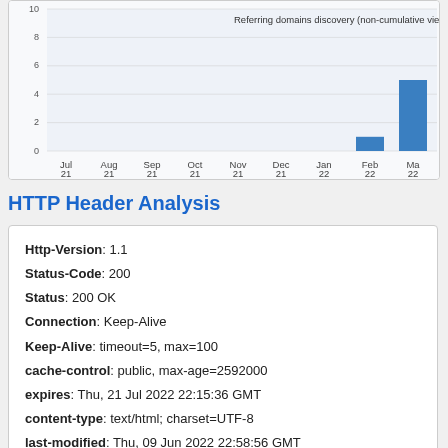[Figure (bar-chart): Referring domains discovery (non-cumulative view)]
HTTP Header Analysis
Http-Version: 1.1
Status-Code: 200
Status: 200 OK
Connection: Keep-Alive
Keep-Alive: timeout=5, max=100
cache-control: public, max-age=2592000
expires: Thu, 21 Jul 2022 22:15:36 GMT
content-type: text/html; charset=UTF-8
last-modified: Thu, 09 Jun 2022 22:58:56 GMT
accept-ranges: bytes
content-encoding: gzip
vary: Accept-Encoding,User-Agent,Accept-Encoding
content-length: 20915
date: Tue, 21 Jun 2022 22:15:36 GMT
server: LiteSpeed